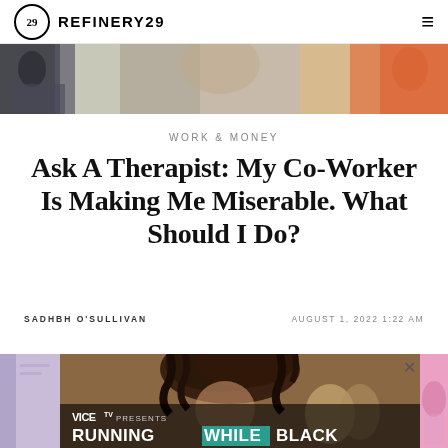REFINERY29
[Figure (photo): Hero banner image showing partial view of people, warm tones with orange and gray]
WORK & MONEY
Ask A Therapist: My Co-Worker Is Making Me Miserable. What Should I Do?
SADHBH O'SULLIVAN
AUGUST 1, 2022 1:22 AM
[Figure (screenshot): Video player showing VICE TV Presents: Running While Black, with person with curly hair and runners in background. Close X button visible.]